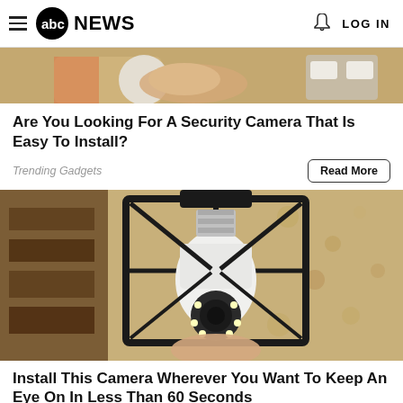abc NEWS  LOG IN
[Figure (photo): Top cropped photo showing a hand holding a white circular device with an orange tool and electrical outlet in background]
Are You Looking For A Security Camera That Is Easy To Install?
Trending Gadgets
[Figure (photo): Outdoor lantern-style wall light fixture with a white security camera bulb installed inside the black metal frame, mounted on a textured stucco wall]
Install This Camera Wherever You Want To Keep An Eye On In Less Than 60 Seconds